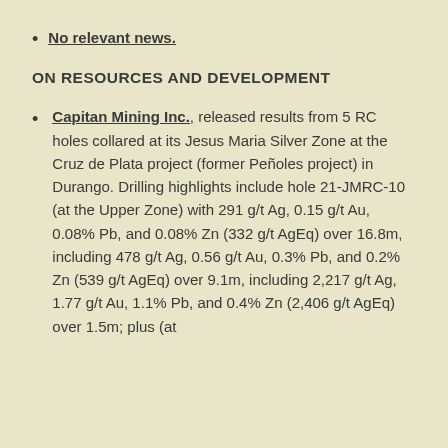No relevant news.
ON RESOURCES AND DEVELOPMENT
Capitan Mining Inc., released results from 5 RC holes collared at its Jesus Maria Silver Zone at the Cruz de Plata project (former Peñoles project) in Durango. Drilling highlights include hole 21-JMRC-10 (at the Upper Zone) with 291 g/t Ag, 0.15 g/t Au, 0.08% Pb, and 0.08% Zn (332 g/t AgEq) over 16.8m, including 478 g/t Ag, 0.56 g/t Au, 0.3% Pb, and 0.2% Zn (539 g/t AgEq) over 9.1m, including 2,217 g/t Ag, 1.77 g/t Au, 1.1% Pb, and 0.4% Zn (2,406 g/t AgEq) over 1.5m; plus (at